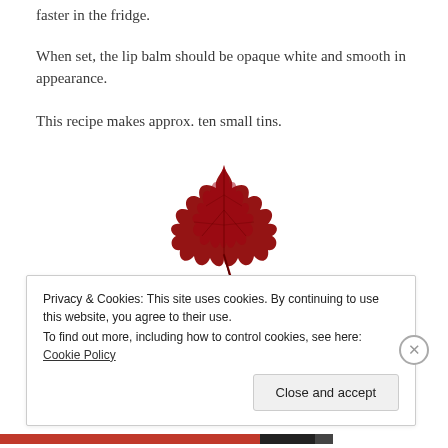faster in the fridge.
When set, the lip balm should be opaque white and smooth in appearance.
This recipe makes approx. ten small tins.
[Figure (illustration): A red maple leaf illustration centered on the page.]
The Verdict:
Privacy & Cookies: This site uses cookies. By continuing to use this website, you agree to their use.
To find out more, including how to control cookies, see here: Cookie Policy
Close and accept